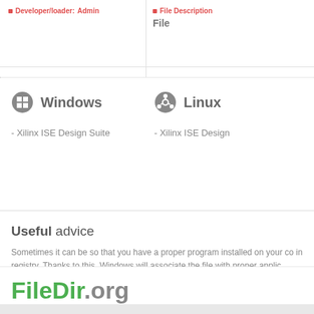Developer/loader: Admin
File Description File
Windows
- Xilinx ISE Design Suite
Linux
- Xilinx ISE Design
Useful advice
Sometimes it can be so that you have a proper program installed on your co in registry. Thanks to this, Windows will associate the file with proper applic concerning improper launch of application.
FileDir.org